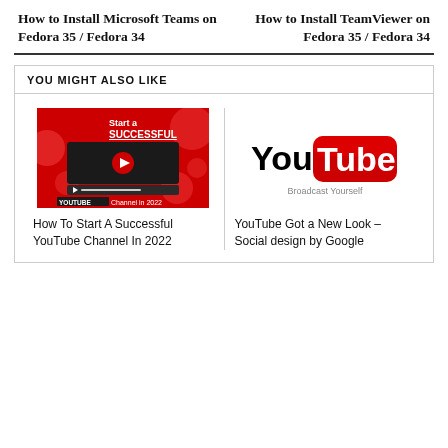How to Install Microsoft Teams on Fedora 35 / Fedora 34
How to Install TeamViewer on Fedora 35 / Fedora 34
YOU MIGHT ALSO LIKE
[Figure (photo): Thumbnail for 'How To Start A Successful YouTube Channel In 2022' — red background with text 'Start a SUCCESSFUL YOUTUBE Channel in 2022' and a dark video player with play button]
How To Start A Successful YouTube Channel In 2022
[Figure (logo): YouTube logo with 'You' in black text and 'Tube' in white text on a red rounded rectangle, with 'Broadcast Yourself' tagline in gray below]
YouTube Got a New Look – Social design by Google